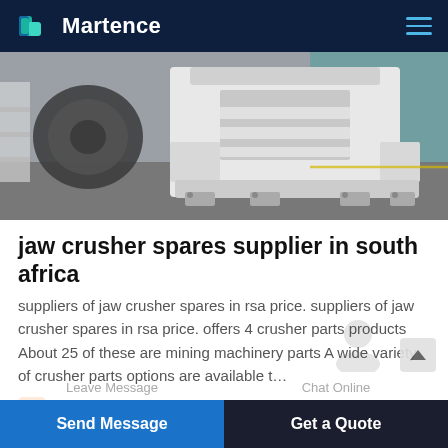Martence
[Figure (photo): Industrial jaw crusher machine photographed on a factory floor. White painted heavy steel structure with bolted base, visible interior crushing chamber, metallic components in background including large gear/wheel and teal-painted wall.]
jaw crusher spares supplier in south africa
suppliers of jaw crusher spares in rsa price. suppliers of jaw crusher spares in rsa price. offers 4 crusher parts products About 25 of these are mining machinery parts A wide variety of crusher parts options are available t…
query@sinoftm.com